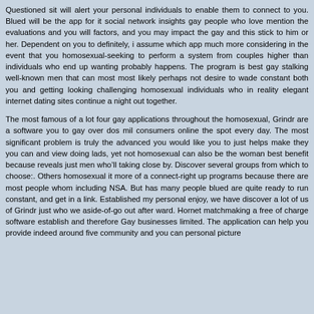Questioned sit will alert your personal individuals to enable them to connect to you. Blued will be the app for it social network insights gay people who love mention the evaluations and you will factors, and you may impact the gay and this stick to him or her. Dependent on you to definitely, i assume which app much more considering in the event that you homosexual-seeking to perform a system from couples higher than individuals who end up wanting probably happens. The program is best gay stalking well-known men that can most most likely perhaps not desire to wade constant both you and getting looking challenging homosexual individuals who in reality elegant internet dating sites continue a night out together.
The most famous of a lot four gay applications throughout the homosexual, Grindr are a software you to gay over dos mil consumers online the spot every day. The most significant problem is truly the advanced you would like you to just helps make they you can and view doing lads, yet not homosexual can also be the woman best benefit because reveals just men who'll taking close by. Discover several groups from which to choose:. Others homosexual it more of a connect-right up programs because there are most people whom including NSA. But has many people blued are quite ready to run constant, and get in a link. Established my personal enjoy, we have discover a lot of us of Grindr just who we aside-of-go out after ward. Hornet matchmaking a free of charge software establish and therefore Gay businesses limited. The application can help you provide indeed around five community and you can personal picture